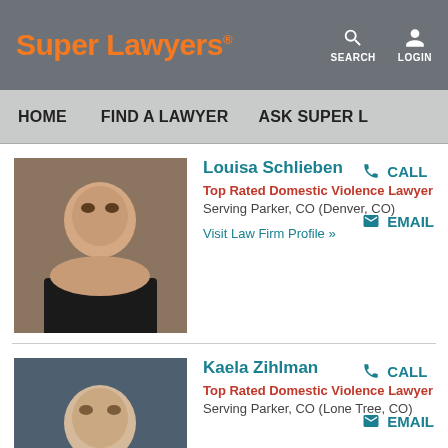Super Lawyers — SEARCH LOGIN
HOME   FIND A LAWYER   ASK SUPER L
Louisa Schlieben
Top Rated Domestic Violence Lawyer
Serving Parker, CO (Denver, CO)
Visit Law Firm Profile »
CALL
EMAIL
Kaela Zihlman
Top Rated Domestic Violence Lawyer
Serving Parker, CO (Lone Tree, CO)
CALL
EMAIL